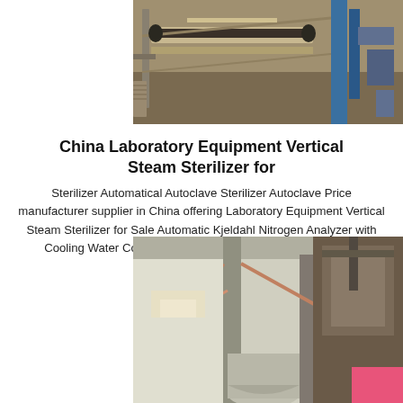[Figure (photo): Industrial machinery/conveyor equipment viewed from above, showing metal framework, conveyor belts, and blue structural elements]
China Laboratory Equipment Vertical Steam Sterilizer for
Sterilizer Automatical Autoclave Sterilizer Autoclave Price manufacturer supplier in China offering Laboratory Equipment Vertical Steam Sterilizer for Sale Automatic Kjeldahl Nitrogen Analyzer with Cooling Water Control System Ten Sets of Racing Managed Automatic Kjeldahl
[Figure (photo): Interior of a large industrial building/warehouse showing tall structural columns, diagonal support beams, and large silo or storage vessel at bottom]